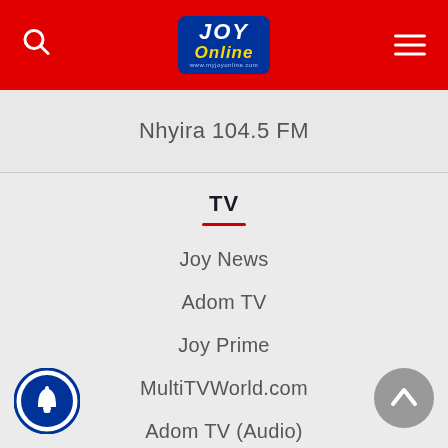[Figure (logo): JoyOnline logo in blue box with red background header, search icon on left, hamburger menu on right]
Nhyira 104.5 FM
TV
Joy News
Adom TV
Joy Prime
MultiTVWorld.com
Adom TV (Audio)
Joy News (Audio)